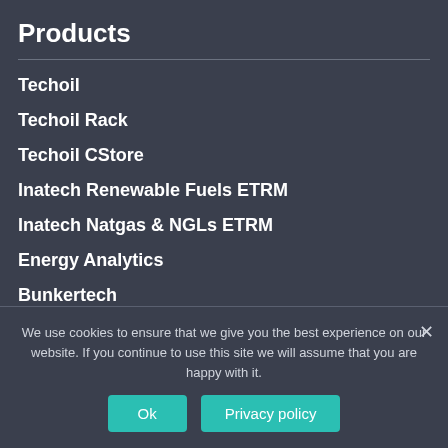Products
Techoil
Techoil Rack
Techoil CStore
Inatech Renewable Fuels ETRM
Inatech Natgas & NGLs ETRM
Energy Analytics
Bunkertech
Shiptech
Shiptech Lite
We use cookies to ensure that we give you the best experience on our website. If you continue to use this site we will assume that you are happy with it.